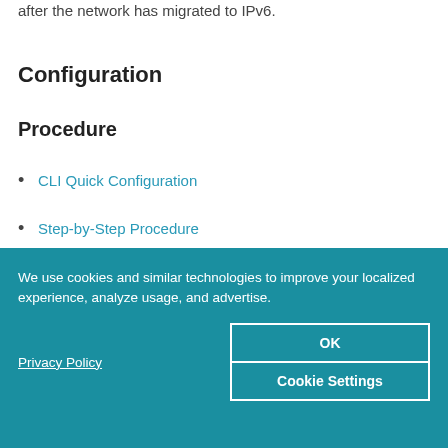after the network has migrated to IPv6.
Configuration
Procedure
CLI Quick Configuration
Step-by-Step Procedure
Results
We use cookies and similar technologies to improve your localized experience, analyze usage, and advertise.
Privacy Policy
OK
Cookie Settings